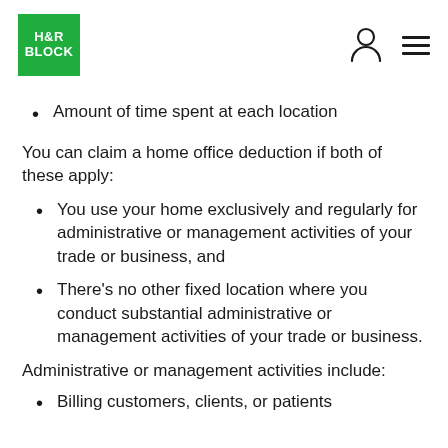H&R BLOCK
Amount of time spent at each location
You can claim a home office deduction if both of these apply:
You use your home exclusively and regularly for administrative or management activities of your trade or business, and
There's no other fixed location where you conduct substantial administrative or management activities of your trade or business.
Administrative or management activities include:
Billing customers, clients, or patients